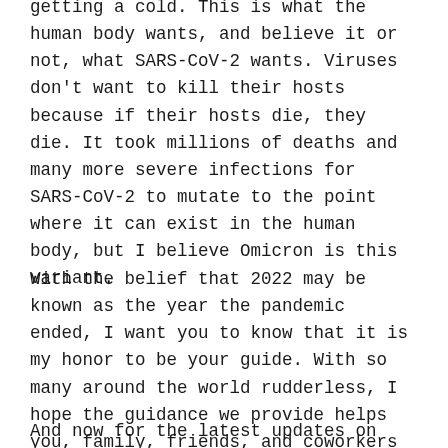getting a cold. This is what the human body wants, and believe it or not, what SARS-CoV-2 wants. Viruses don't want to kill their hosts because if their hosts die, they die. It took millions of deaths and many more severe infections for SARS-CoV-2 to mutate to the point where it can exist in the human body, but I believe Omicron is this variant.
With the belief that 2022 may be known as the year the pandemic ended, I want you to know that it is my honor to be your guide. With so many around the world rudderless, I hope the guidance we provide helps you, family, friends, and coworkers through the pandemic with the least amount of suffering possible.
And now for the latest updates on the